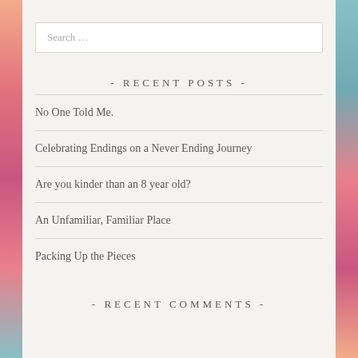Search …
- RECENT POSTS -
No One Told Me.
Celebrating Endings on a Never Ending Journey
Are you kinder than an 8 year old?
An Unfamiliar, Familiar Place
Packing Up the Pieces
- RECENT COMMENTS -